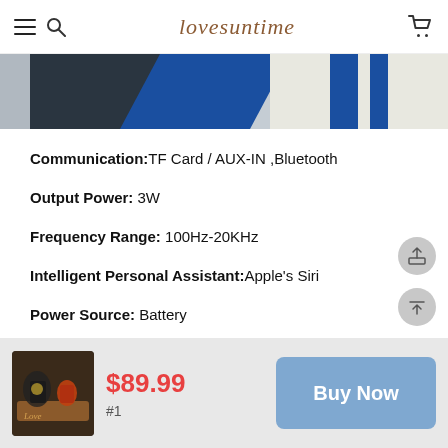lovesuntime
[Figure (photo): Partial product image showing blue and white geometric design on dark background]
Communication: TF Card / AUX-IN ,Bluetooth
Output Power: 3W
Frequency Range: 100Hz-20KHz
Intelligent Personal Assistant: Apple's Siri
Power Source: Battery
Support Memory Card: Yes
$89.99  #1  Buy Now